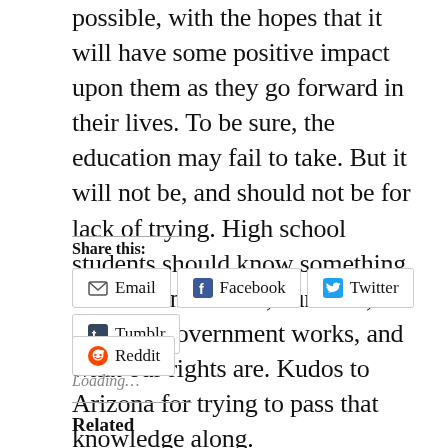possible, with the hopes that it will have some positive impact upon them as they go forward in their lives. To be sure, the education may fail to take. But it will not be, and should not be for lack of trying. High school students should know something of our Constitution, our laws, how our government works, and what our rights are. Kudos to Arizona for trying to pass that knowledge along.
Share this:
Email
Facebook
Twitter
Tumblr
Reddit
Loading...
Related